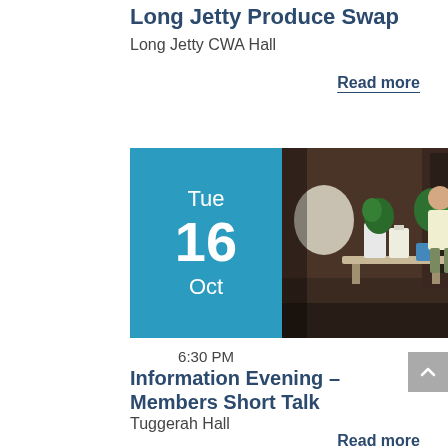Long Jetty Produce Swap
Long Jetty CWA Hall
Read more
[Figure (infographic): Blue date tile showing Tue 16 Oct alongside a photo of an indoor event with a woman presenting near a table with plants and buckets]
6:30 PM
Information Evening – Members Short Talk
Tuggerah Hall
Read more